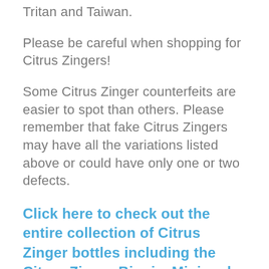Tritan and Taiwan.
Please be careful when shopping for Citrus Zingers!
Some Citrus Zinger counterfeits are easier to spot than others. Please remember that fake Citrus Zingers may have all the variations listed above or could have only one or two defects.
Click here to check out the entire collection of Citrus Zinger bottles including the Citrus Zinger Biggie, Mini and Kid Zinger!